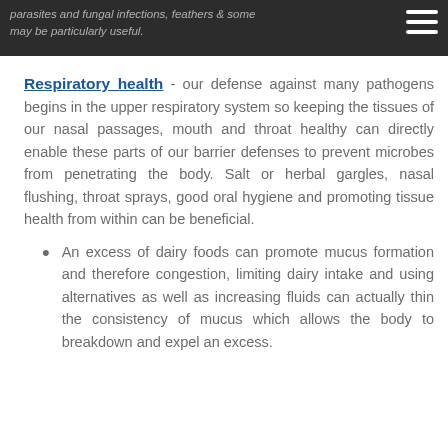parasites and fungal infections, feathers & some may be particularly useful.
Respiratory health - our defense against many pathogens begins in the upper respiratory system so keeping the tissues of our nasal passages, mouth and throat healthy can directly enable these parts of our barrier defenses to prevent microbes from penetrating the body. Salt or herbal gargles, nasal flushing, throat sprays, good oral hygiene and promoting tissue health from within can be beneficial.
An excess of dairy foods can promote mucus formation and therefore congestion, limiting dairy intake and using alternatives as well as increasing fluids can actually thin the consistency of mucus which allows the body to breakdown and expel an excess.